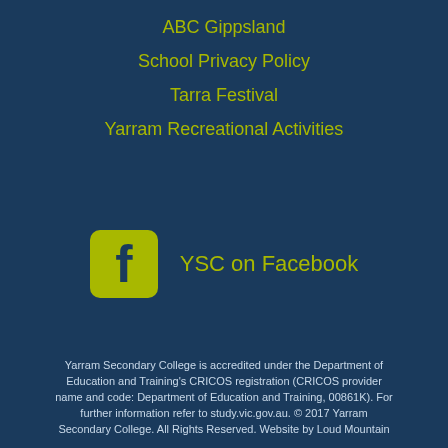ABC Gippsland
School Privacy Policy
Tarra Festival
Yarram Recreational Activities
[Figure (logo): Facebook logo icon in olive/yellow-green square with rounded corners, followed by text 'YSC on Facebook']
Yarram Secondary College is accredited under the Department of Education and Training's CRICOS registration (CRICOS provider name and code: Department of Education and Training, 00861K). For further information refer to study.vic.gov.au. © 2017 Yarram Secondary College. All Rights Reserved. Website by Loud Mountain